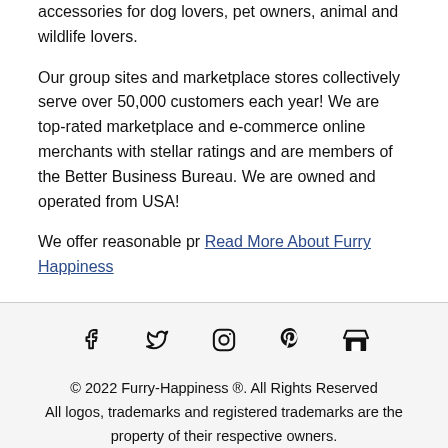accessories for dog lovers, pet owners, animal and wildlife lovers.
Our group sites and marketplace stores collectively serve over 50,000 customers each year! We are top-rated marketplace and e-commerce online merchants with stellar ratings and are members of the Better Business Bureau. We are owned and operated from USA!
We offer reasonable pr Read More About Furry Happiness
[Figure (infographic): Social media icons: Facebook, Twitter, Instagram, Pinterest, and a store icon]
© 2022 Furry-Happiness ®. All Rights Reserved
All logos, trademarks and registered trademarks are the property of their respective owners.